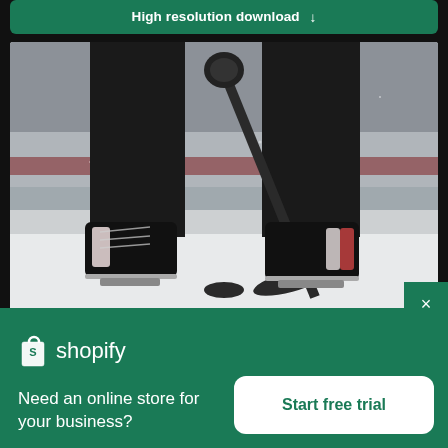High resolution download ↓
[Figure (photo): Hockey player's lower body on ice rink, wearing black ice skates, holding a hockey stick near a puck. View from below knees, ice rink boards visible in background.]
×
[Figure (logo): Shopify logo — shopping bag icon in white, text 'shopify' in white]
Need an online store for your business?
Start free trial